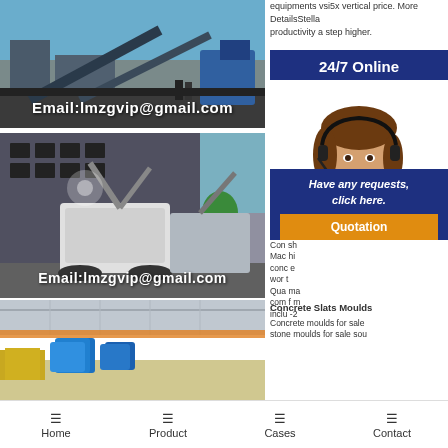[Figure (photo): Industrial crushing/mining equipment and machinery at an outdoor site with blue sky, conveyor belts visible. Email overlay: Email:lmzgvip@gmail.com]
Email:lmzgvip@gmail.com
equipments vsi5x vertical price. More DetailsStellar productivity a step higher.
24/7 Online
[Figure (photo): Customer service agent woman wearing headset and blue uniform, smiling, on white background]
[Figure (photo): Mobile crusher/concrete mixing machinery parked in front of an industrial building. Email overlay: Email:lmzgvip@gmail.com]
Email:lmzgvip@gmail.com
Concrete sh Machine hi concre e world t Qua ma com f m inclu -2
Have any requests, click here.
Quotation
[Figure (photo): Warehouse interior with blue plastic bins/totes stored on shelving, steel roof structure visible]
Concrete Slats Moulds
Concrete moulds for sale stone moulds for sale sou
Home   Product   Cases   Contact